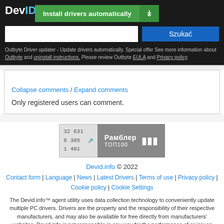DevID
Install drivers automatically
Szukać
Outbyte Driver updater - Update drivers automatically. Special offer See more information about Outbyte and uninstall instructions. Please review Outbyte EULA and Privacy policy.
Collapse comments / Expand comments
Only registered users can comment.
[Figure (other): Rambler Top100 banner with stats: 32 631 / 6 385 / 1 491]
Devid.info © 2022
Contact form | Language | News | Latest Drivers | Terms of use | Privacy policy | Cookie policy | Cookie Settings
The Devid.info™ agent utility uses data collection technology to conveniently update multiple PC drivers. Drivers are the property and the responsibility of their respective manufacturers, and may also be available for free directly from manufacturers' websites. Devid.info is not responsible in any way for the performance of or issues caused by any third-party drivers. Drivers may also be